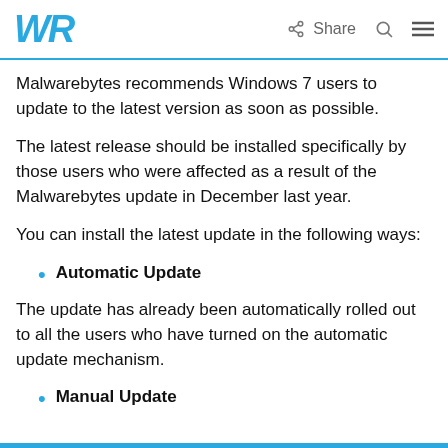WR | Share [search] [menu]
Malwarebytes recommends Windows 7 users to update to the latest version as soon as possible.
The latest release should be installed specifically by those users who were affected as a result of the Malwarebytes update in December last year.
You can install the latest update in the following ways:
Automatic Update
The update has already been automatically rolled out to all the users who have turned on the automatic update mechanism.
Manual Update